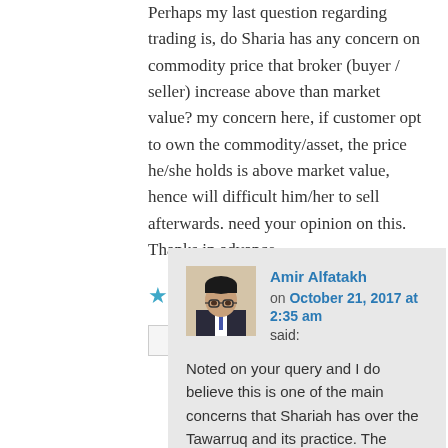Perhaps my last question regarding trading is, do Sharia has any concern on commodity price that broker (buyer / seller) increase above than market value? my concern here, if customer opt to own the commodity/asset, the price he/she holds is above market value, hence will difficult him/her to sell afterwards. need your opinion on this. Thanks in advance.
★ Like
Reply ↓
Amir Alfatakh on October 21, 2017 at 2:35 am said:
[Figure (photo): Avatar photo of Amir Alfatakh - person in suit with glasses]
Noted on your query and I do believe this is one of the main concerns that Shariah has over the Tawarruq and its practice. The scenario will always be this